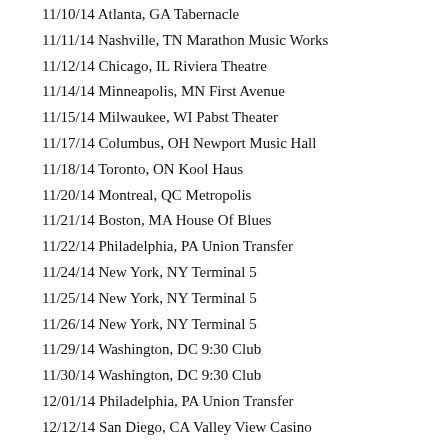11/10/14 Atlanta, GA Tabernacle
11/11/14 Nashville, TN Marathon Music Works
11/12/14 Chicago, IL Riviera Theatre
11/14/14 Minneapolis, MN First Avenue
11/15/14 Milwaukee, WI Pabst Theater
11/17/14 Columbus, OH Newport Music Hall
11/18/14 Toronto, ON Kool Haus
11/20/14 Montreal, QC Metropolis
11/21/14 Boston, MA House Of Blues
11/22/14 Philadelphia, PA Union Transfer
11/24/14 New York, NY Terminal 5
11/25/14 New York, NY Terminal 5
11/26/14 New York, NY Terminal 5
11/29/14 Washington, DC 9:30 Club
11/30/14 Washington, DC 9:30 Club
12/01/14 Philadelphia, PA Union Transfer
12/12/14 San Diego, CA Valley View Casino
01/23/15 Amsterdam Heineken Music Hall
01/24/15 Brussels, Belgium Forest National
01/25/15 Cologne, Germany Palladium
01/27/15 Paris, France Olympia